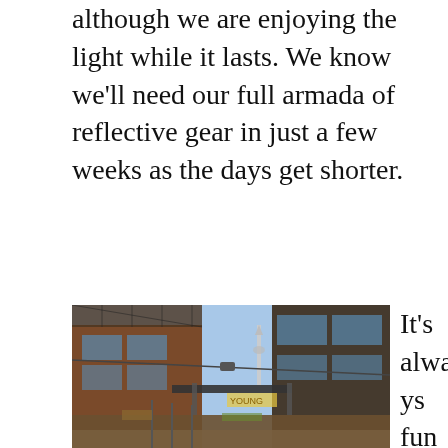although we are enjoying the light while it lasts. We know we'll need our full armada of reflective gear in just a few weeks as the days get shorter.
[Figure (photo): Street-level photograph of the Distillery District in Toronto, showing brick buildings, scaffolding, a cable car line, the CN Tower in the background, and a pedestrian walkway with string lights and planters.]
It's always fun to cut through the Distillery District and